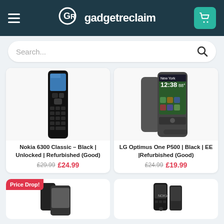gadgetreclaim
[Figure (screenshot): Search bar with placeholder text 'Search...' and a search icon]
[Figure (photo): Nokia 6300 Classic Black phone product image]
Nokia 6300 Classic – Black | Unlocked | Refurbished (Good)
£29.99  £24.99
[Figure (photo): LG Optimus One P500 Black phone product image]
LG Optimus One P500 | Black | EE |Refurbished (Good)
£24.99  £19.99
[Figure (photo): Partial product image with Price Drop badge]
[Figure (photo): Partial Nokia product image at bottom right]